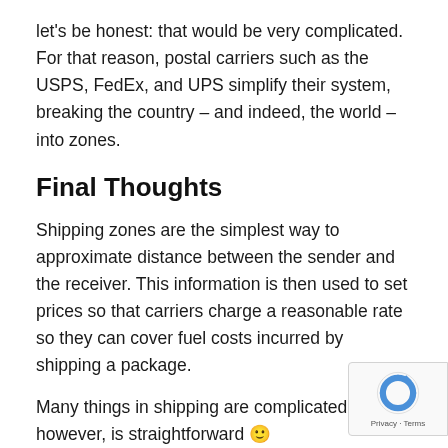let's be honest: that would be very complicated. For that reason, postal carriers such as the USPS, FedEx, and UPS simplify their system, breaking the country – and indeed, the world – into zones.
Final Thoughts
Shipping zones are the simplest way to approximate distance between the sender and the receiver. This information is then used to set prices so that carriers charge a reasonable rate so they can cover fuel costs incurred by shipping a package.
Many things in shipping are complicated. This, however, is straightforward 🙂